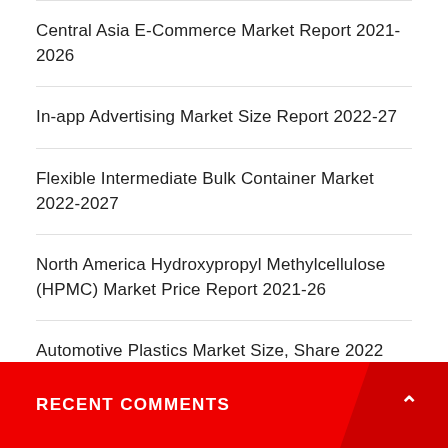Central Asia E-Commerce Market Report 2021-2026
In-app Advertising Market Size Report 2022-27
Flexible Intermediate Bulk Container Market 2022-2027
North America Hydroxypropyl Methylcellulose (HPMC) Market Price Report 2021-26
Automotive Plastics Market Size, Share 2022 Report, Analysis and Forecast to 2027
RECENT COMMENTS